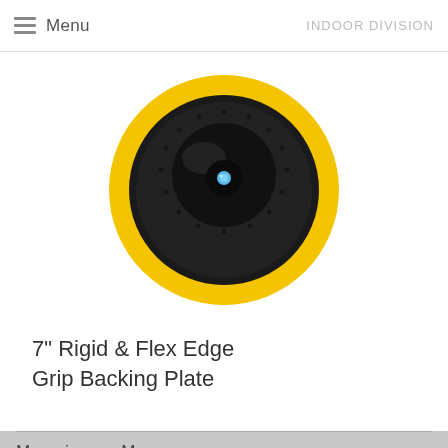Menu
[Figure (photo): 7-inch circular backing plate with yellow outer ring and black center with grip texture and a blue center hub, viewed from front]
7" Rigid & Flex Edge Grip Backing Plate
Main Menu
Home
Products
About Us